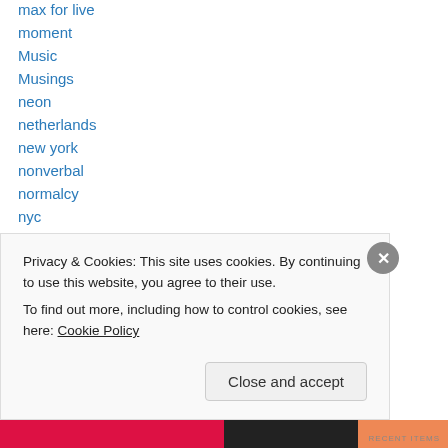max for live
moment
Music
Musings
neon
netherlands
new york
nonverbal
normalcy
nyc
Painting
performance
photo
Privacy & Cookies: This site uses cookies. By continuing to use this website, you agree to their use.
To find out more, including how to control cookies, see here: Cookie Policy
Close and accept